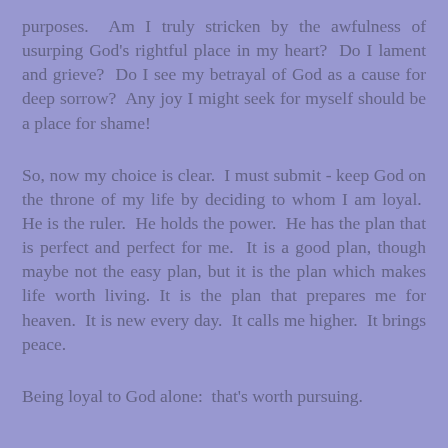purposes.  Am I truly stricken by the awfulness of usurping God's rightful place in my heart?  Do I lament and grieve?  Do I see my betrayal of God as a cause for deep sorrow?  Any joy I might seek for myself should be a place for shame!
So, now my choice is clear.  I must submit - keep God on the throne of my life by deciding to whom I am loyal.  He is the ruler.  He holds the power.  He has the plan that is perfect and perfect for me.  It is a good plan, though maybe not the easy plan, but it is the plan which makes life worth living. It is the plan that prepares me for heaven.  It is new every day.  It calls me higher.  It brings peace.
Being loyal to God alone:  that's worth pursuing.